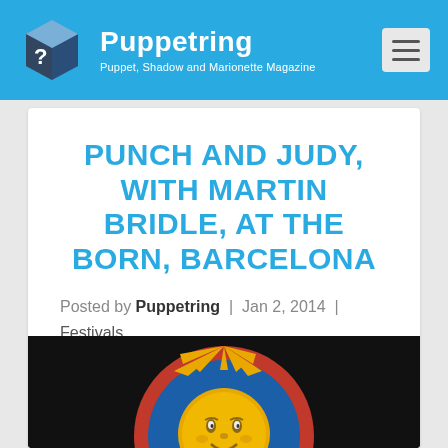Puppetring — Puppet, Shadow and Marionette Magazine
PUNCH AND JUDY, WITH MARTIN BRIDLE, AT THE BORN, BARCELONA
Posted by Puppetring | Jan 2, 2014 | Festivals, History and traditions, News | 0 | ★☆☆☆☆
[Figure (photo): Decorative sun face artwork with golden rays on a red and blue circular background, against a dark background]